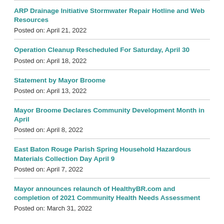ARP Drainage Initiative Stormwater Repair Hotline and Web Resources
Posted on: April 21, 2022
Operation Cleanup Rescheduled For Saturday, April 30
Posted on: April 18, 2022
Statement by Mayor Broome
Posted on: April 13, 2022
Mayor Broome Declares Community Development Month in April
Posted on: April 8, 2022
East Baton Rouge Parish Spring Household Hazardous Materials Collection Day April 9
Posted on: April 7, 2022
Mayor announces relaunch of HealthyBR.com and completion of 2021 Community Health Needs Assessment
Posted on: March 31, 2022